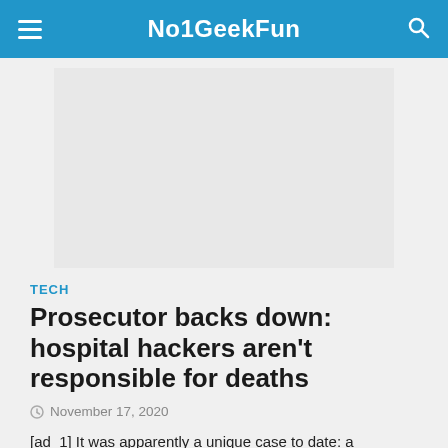No1GeekFun
[Figure (other): Advertisement placeholder box, light gray background]
TECH
Prosecutor backs down: hospital hackers aren't responsible for deaths
November 17, 2020
[ad_1] It was apparently a unique case to date: a